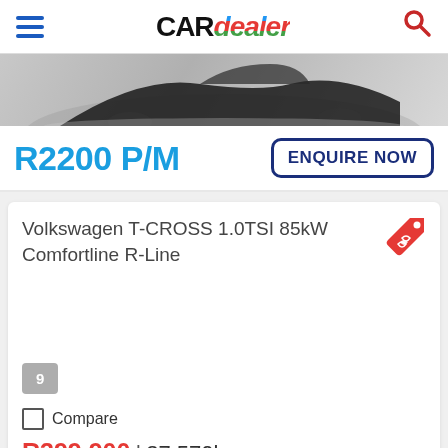CARdealer
[Figure (photo): Partial rear view of a dark car on grey gradient background]
R2200 P/M
ENQUIRE NOW
Volkswagen T-CROSS 1.0TSI 85kW Comfortline R-Line
9
Compare
R399,900 | 37 570km